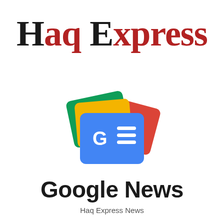Haq Express
[Figure (logo): Google News logo: stacked cards in green, yellow, and red with a blue card in front showing 'GE' symbol and two white lines]
Google News
Haq Express News